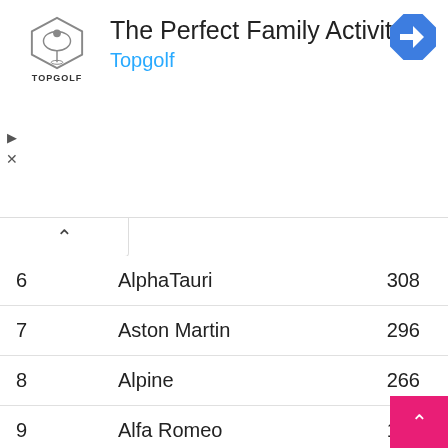[Figure (other): Topgolf advertisement banner with logo and text 'The Perfect Family Activity' and navigation icon]
| # | Team | Points |
| --- | --- | --- |
| 6 | AlphaTauri | 308 |
| 7 | Aston Martin | 296 |
| 8 | Alpine | 266 |
| 9 | Alfa Romeo | 175 |
| 10 | Haas | 160 |
NUMBER OF LAPS – ENGINE MANUFACTURERS
| # | Manufacturer | Laps |
| --- | --- | --- |
| 1 | Mercedes | 1403 |